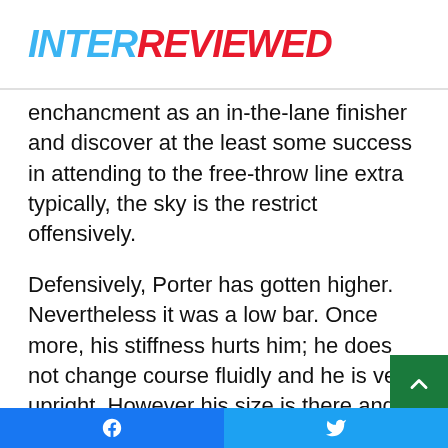INTERREVIEWED
enchancment as an in-the-lane finisher and discover at the least some success in attending to the free-throw line extra typically, the sky is the restrict offensively.
Defensively, Porter has gotten higher. Nevertheless it was a low bar. Once more, his stiffness hurts him; he does not change course fluidly and he is very upright. However his size is there and if he simply cuts out the psychological lapses, he could be nice.
By way of his first two seasons, Porter has gone from a venture to a binge scorer/shooter to a core piece on a group that expects to win a championship. This season, it is in regards to the transfer into stardom. Not top-tier stardom,
Facebook | Twitter